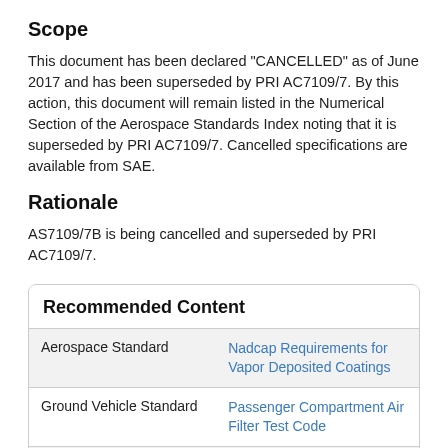Scope
This document has been declared "CANCELLED" as of June 2017 and has been superseded by PRI AC7109/7. By this action, this document will remain listed in the Numerical Section of the Aerospace Standards Index noting that it is superseded by PRI AC7109/7. Cancelled specifications are available from SAE.
Rationale
AS7109/7B is being cancelled and superseded by PRI AC7109/7.
|  | Recommended Content |
| --- | --- |
| Aerospace Standard | Nadcap Requirements for Vapor Deposited Coatings |
| Ground Vehicle Standard | Passenger Compartment Air Filter Test Code |
|  | Steel Bars, Wire |